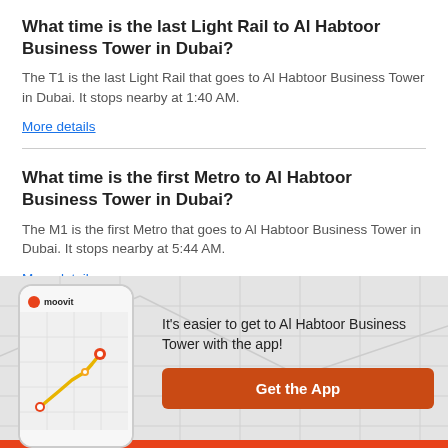What time is the last Light Rail to Al Habtoor Business Tower in Dubai?
The T1 is the last Light Rail that goes to Al Habtoor Business Tower in Dubai. It stops nearby at 1:40 AM.
More details
What time is the first Metro to Al Habtoor Business Tower in Dubai?
The M1 is the first Metro that goes to Al Habtoor Business Tower in Dubai. It stops nearby at 5:44 AM.
More details
[Figure (screenshot): Moovit app screenshot showing a map with a route highlighted in yellow/gold color, with red and orange location pins]
It's easier to get to Al Habtoor Business Tower with the app!
Get the App